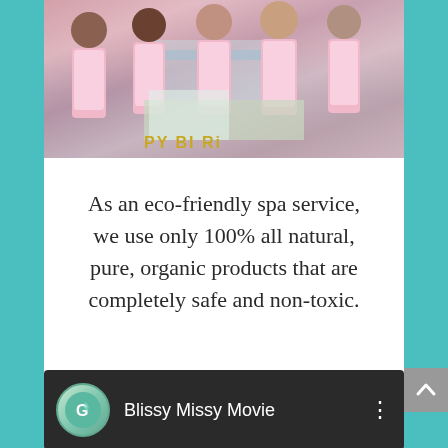[Figure (photo): Group photo of several people wearing pink aprons standing in front of a table with a cake and food items. A banner reading 'HAPPY BIRTH' is visible in the foreground.]
As an eco-friendly spa service, we use only 100% all natural, pure, organic products that are completely safe and non-toxic.
[Figure (screenshot): Video thumbnail showing the Green Bliss logo (a circular logo with a stylized leaf/G design) and the title 'Blissy Missy Movie' with a three-dot menu icon on the right, on a dark background.]